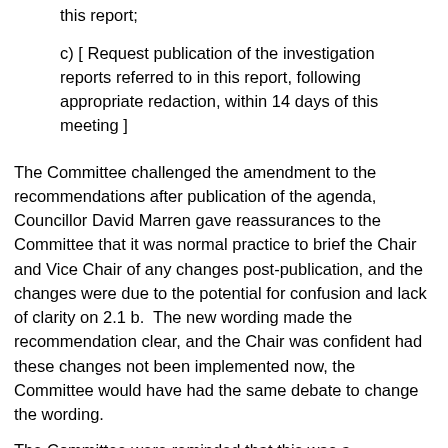this report;
c) [ Request publication of the investigation reports referred to in this report, following appropriate redaction, within 14 days of this meeting ]
The Committee challenged the amendment to the recommendations after publication of the agenda, Councillor David Marren gave reassurances to the Committee that it was normal practice to brief the Chair and Vice Chair of any changes post-publication, and the changes were due to the potential for confusion and lack of clarity on 2.1 b.  The new wording made the recommendation clear, and the Chair was confident had these changes not been implemented now, the Committee would have had the same debate to change the wording.
The Committee were reminded that this was a